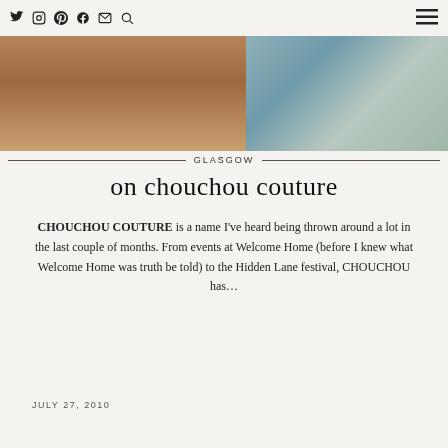Twitter Instagram Pinterest Facebook Email Search [hamburger menu]
[Figure (photo): Cropped photo strip showing two people, left side shows tanned skin/legs against a grey background, right side shows a person in a patterned blue/teal textured garment]
GLASGOW
on chouchou couture
CHOUCHOU COUTURE is a name I've heard being thrown around a lot in the last couple of months. From events at Welcome Home (before I knew what Welcome Home was truth be told) to the Hidden Lane festival, CHOUCHOU has…
JULY 27, 2010